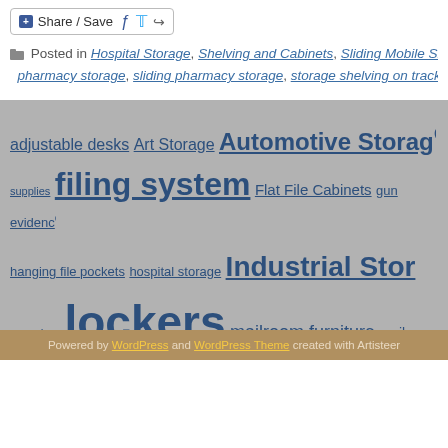[Figure (other): Share/Save button with Facebook, Twitter, and forward icons]
Posted in Hospital Storage, Shelving and Cabinets, Sliding Mobile She... pharmacy storage, sliding pharmacy storage, storage shelving on tracks |
[Figure (infographic): Tag cloud with various storage-related terms in different sizes: adjustable desks, Art Storage, Automotive Storage, supplies, filing system, Flat File Cabinets, gun evidence, hanging file pockets, hospital storage, Industrial Stor..., organizer, lockers, mailroom furniture, mailroom..., oblique, Oblique Shelf Organizer, Oblique Unifile co..., storage, Rotary cabinets, Rotary storage cabinets, s..., handles, tool s...]
[Figure (logo): RSS feed orange icon with RSS label]
Powered by WordPress and WordPress Theme created with Artisteer